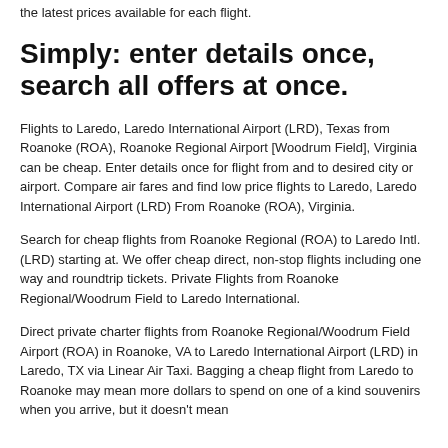the latest prices available for each flight.
Simply: enter details once, search all offers at once.
Flights to Laredo, Laredo International Airport (LRD), Texas from Roanoke (ROA), Roanoke Regional Airport [Woodrum Field], Virginia can be cheap. Enter details once for flight from and to desired city or airport. Compare air fares and find low price flights to Laredo, Laredo International Airport (LRD) From Roanoke (ROA), Virginia.
Search for cheap flights from Roanoke Regional (ROA) to Laredo Intl. (LRD) starting at. We offer cheap direct, non-stop flights including one way and roundtrip tickets. Private Flights from Roanoke Regional/Woodrum Field to Laredo International.
Direct private charter flights from Roanoke Regional/Woodrum Field Airport (ROA) in Roanoke, VA to Laredo International Airport (LRD) in Laredo, TX via Linear Air Taxi. Bagging a cheap flight from Laredo to Roanoke may mean more dollars to spend on one of a kind souvenirs when you arrive, but it doesn't mean